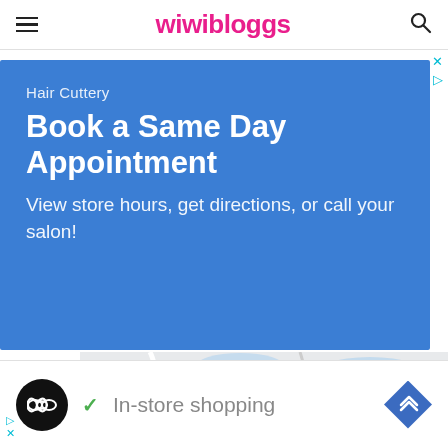wiwibloggs
[Figure (screenshot): Advertisement for Hair Cuttery with blue background. Text reads: 'Hair Cuttery', 'Book a Same Day Appointment', 'View store hours, get directions, or call your salon!' Below is a Google Maps screenshot showing Potomac Green Community Center with a red pin marker.]
In-store shopping